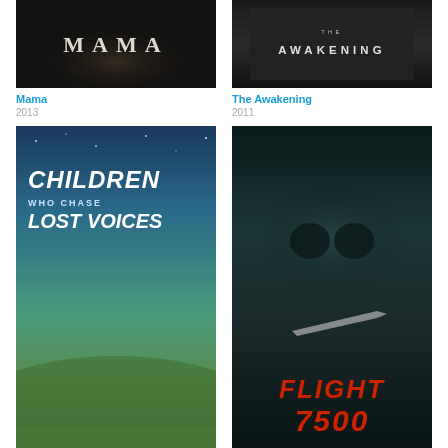[Figure (photo): Movie poster for Mama (2013) - dark horror poster with shadowy figure and stylized title text]
Mama
2013
[Figure (photo): Movie poster for The Awakening (2011) - dark moody poster with foggy ground and title text]
The Awakening
2011
[Figure (photo): Movie poster for Children Who Chase Lost Voices (2011) - animated fantasy film with children and colorful scenery]
Children Who Chase Lost Voices
2011
[Figure (photo): Movie poster for Flight 7500 (2014) - dark thriller with skull formed in storm clouds and airplane silhouette]
Flight 7500
2014